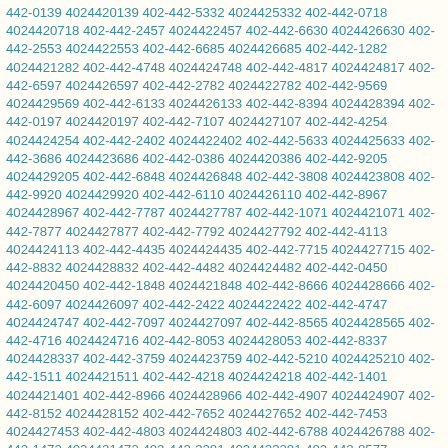442-0139 4024420139 402-442-5332 4024425332 402-442-0718 4024420718 402-442-2457 4024422457 402-442-6630 4024426630 402-442-2553 4024422553 402-442-6685 4024426685 402-442-1282 4024421282 402-442-4748 4024424748 402-442-4817 4024424817 402-442-6597 4024426597 402-442-2782 4024422782 402-442-9569 4024429569 402-442-6133 4024426133 402-442-8394 4024428394 402-442-0197 4024420197 402-442-7107 4024427107 402-442-4254 4024424254 402-442-2402 4024422402 402-442-5633 4024425633 402-442-3686 4024423686 402-442-0386 4024420386 402-442-9205 4024429205 402-442-6848 4024426848 402-442-3808 4024423808 402-442-9920 4024429920 402-442-6110 4024426110 402-442-8967 4024428967 402-442-7787 4024427787 402-442-1071 4024421071 402-442-7877 4024427877 402-442-7792 4024427792 402-442-4113 4024424113 402-442-4435 4024424435 402-442-7715 4024427715 402-442-8832 4024428832 402-442-4482 4024424482 402-442-0450 4024420450 402-442-1848 4024421848 402-442-8666 4024428666 402-442-6097 4024426097 402-442-2422 4024422422 402-442-4747 4024424747 402-442-7097 4024427097 402-442-8565 4024428565 402-442-4716 4024424716 402-442-8053 4024428053 402-442-8337 4024428337 402-442-3759 4024423759 402-442-5210 4024425210 402-442-1511 4024421511 402-442-4218 4024424218 402-442-1401 4024421401 402-442-8966 4024428966 402-442-4907 4024424907 402-442-8152 4024428152 402-442-7652 4024427652 402-442-7453 4024427453 402-442-4803 4024424803 402-442-6788 4024426788 402-442-1472 4024421472 402-442-3281 4024423281 402-442-8577 4024428577 402-442-5968 4024425968 402-442-3541 4024423541 402-442-5330 4024425330 402-442-1435 4024421435 402-442-3471